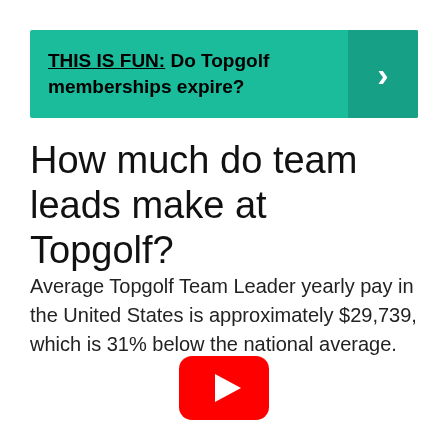[Figure (infographic): Teal banner with text 'THIS IS FUN: Do Topgolf memberships expire?' and a right arrow button on the right side]
How much do team leads make at Topgolf?
Average Topgolf Team Leader yearly pay in the United States is approximately $29,739, which is 31% below the national average.
[Figure (logo): YouTube play button logo - red rounded rectangle with white play triangle]